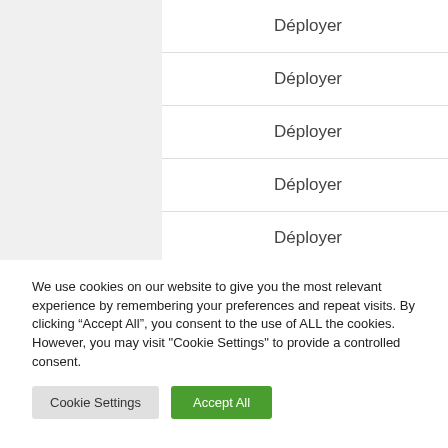Déployer
Déployer
Déployer
Déployer
Déployer
We use cookies on our website to give you the most relevant experience by remembering your preferences and repeat visits. By clicking “Accept All”, you consent to the use of ALL the cookies. However, you may visit "Cookie Settings" to provide a controlled consent.
Cookie Settings | Accept All